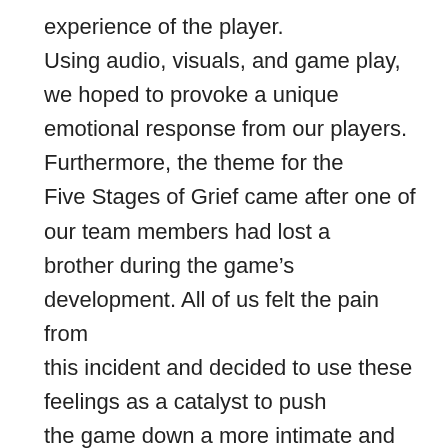experience of the player. Using audio, visuals, and game play, we hoped to provoke a unique emotional response from our players. Furthermore, the theme for the Five Stages of Grief came after one of our team members had lost a brother during the game's development. All of us felt the pain from this incident and decided to use these feelings as a catalyst to push the game down a more intimate and personal path.